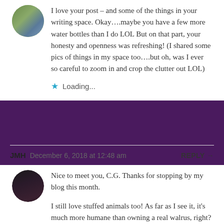I love your post – and some of the things in your writing space. Okay….maybe you have a few more water bottles than I do LOL But on that part, your honesty and openness was refreshing! (I shared some pics of things in my space too….but oh, was I ever so careful to zoom in and crop the clutter out LOL)
Loading...
JMH  December 6, 2018 at 12:48 am  REPLY →
Nice to meet you, C.G. Thanks for stopping by my blog this month.
I still love stuffed animals too! As far as I see it, it's much more humane than owning a real walrus, right?